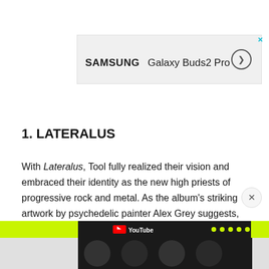[Figure (screenshot): Samsung Galaxy Buds2 Pro advertisement banner with brand name, product name, and circular arrow button]
1. LATERALUS
With Lateralus, Tool fully realized their vision and embraced their identity as the new high priests of progressive rock and metal. As the album's striking artwork by psychedelic painter Alex Grey suggests, this is more than just music, this is visionary art
[Figure (screenshot): YouTube video overlay with yellow progress bar and video thumbnails at the bottom of the page]